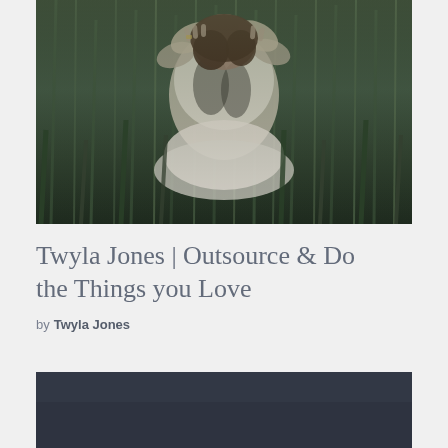[Figure (photo): A person kneeling in tall green grass, bowing their head with hands cradling their head, wearing a white patterned top. Dark moody nature photography.]
Twyla Jones | Outsource & Do the Things you Love
by  Twyla Jones
[Figure (photo): Bottom portion of a dark navy/charcoal colored image, partially visible at the bottom of the page.]